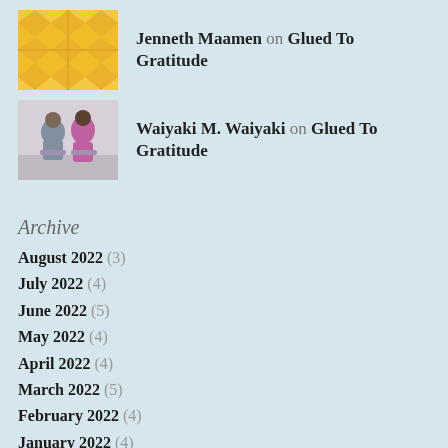Jenneth Maamen on Glued To Gratitude
Waiyaki M. Waiyaki on Glued To Gratitude
Archive
August 2022 (3)
July 2022 (4)
June 2022 (5)
May 2022 (4)
April 2022 (4)
March 2022 (5)
February 2022 (4)
January 2022 (4)
December 2021 (3)
November 2021 (3)
October 2021 (4)